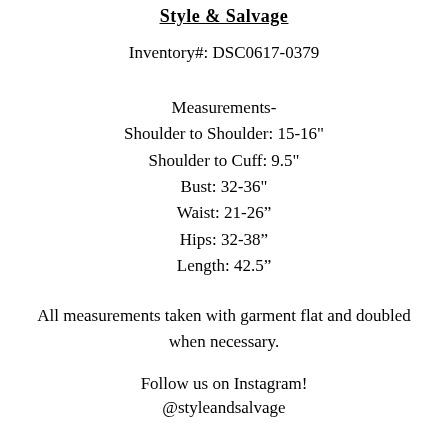Style & Salvage
Inventory#: DSC0617-0379
Measurements-
Shoulder to Shoulder: 15-16"
Shoulder to Cuff: 9.5"
Bust: 32-36"
Waist: 21-26"
Hips: 32-38"
Length: 42.5"
All measurements taken with garment flat and doubled when necessary.
Follow us on Instagram!
@styleandsalvage